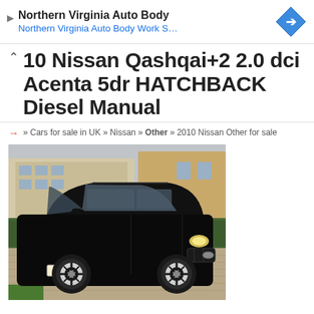[Figure (other): Advertisement banner for Northern Virginia Auto Body with blue diamond road sign icon]
10 Nissan Qashqai+2 2.0 dci Acenta 5dr HATCHBACK Diesel Manual
» Cars for sale in UK » Nissan » Other » 2010 Nissan Other for sale
[Figure (photo): Black Nissan Qashqai+2 SUV parked on a brick driveway in front of residential buildings and hedgerow]